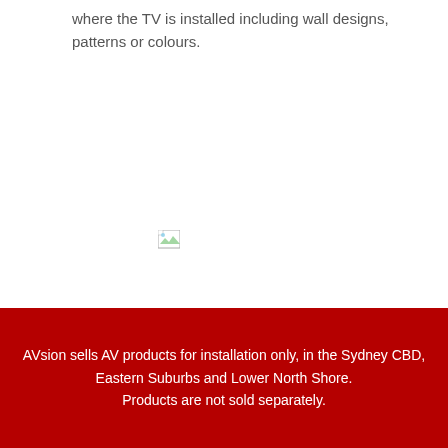where the TV is installed including wall designs, patterns or colours.
[Figure (photo): Broken/missing image placeholder icon]
CLARITY IN MOTION
200Hz Motion Rate*
Designed to keep up with fast-paced sports and action movies. Samsung's 200Hz Motion Rate helps you experience
AVsion sells AV products for installation only, in the Sydney CBD, Eastern Suburbs and Lower North Shore. Products are not sold separately.